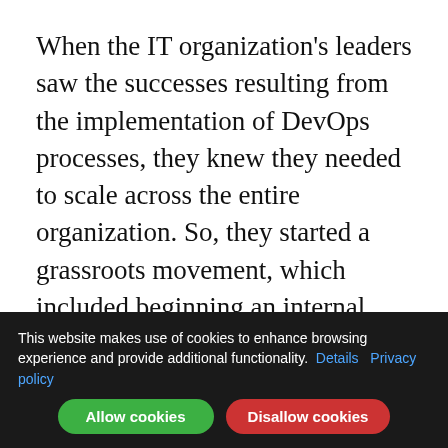When the IT organization's leaders saw the successes resulting from the implementation of DevOps processes, they knew they needed to scale across the entire organization. So, they started a grassroots movement, which included beginning an internal DevOps program. Right away, over 100 people showed interest in learning more about DevOps. The organization went from nobody wanting to talk about DevOps because it seemed like only Silicon Valley web companies were doing it, to increasing
This website makes use of cookies to enhance browsing experience and provide additional functionality. Details Privacy policy Allow cookies Disallow cookies